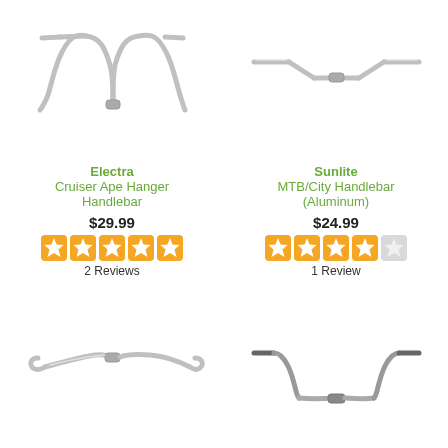[Figure (photo): Silver Electra Cruiser Ape Hanger Handlebar - tall curved U-shape handlebar]
[Figure (photo): Silver Sunlite MTB/City Handlebar (Aluminum) - flat bar with slight rise and short drop ends]
Electra
Cruiser Ape Hanger Handlebar
$29.99
2 Reviews
Sunlite
MTB/City Handlebar (Aluminum)
$24.99
1 Review
[Figure (photo): Silver low-rise swept-back handlebar]
[Figure (photo): Silver/dark medium-rise handlebar with slight wing shape]